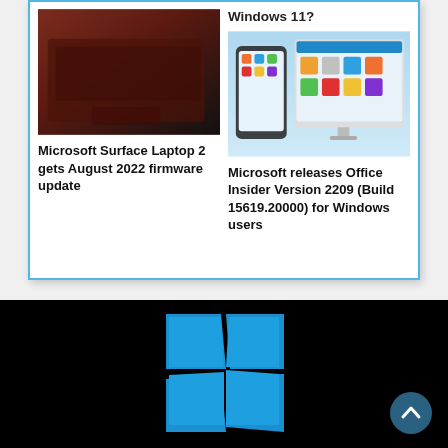Windows 11?
[Figure (photo): Microsoft Surface Laptop 2 - dark red/burgundy laptop keyboard and trackpad viewed from above]
[Figure (photo): Microsoft Office apps shown on mobile phone and tablet/desktop screens]
Microsoft Surface Laptop 2 gets August 2022 firmware update
Microsoft releases Office Insider Version 2209 (Build 15619.20000) for Windows users
[Figure (logo): Windows 11 logo - four blue squares arranged in a grid with black gaps, on black background]
[Figure (other): Scroll-to-top button - dark teal circle with upward chevron arrow]